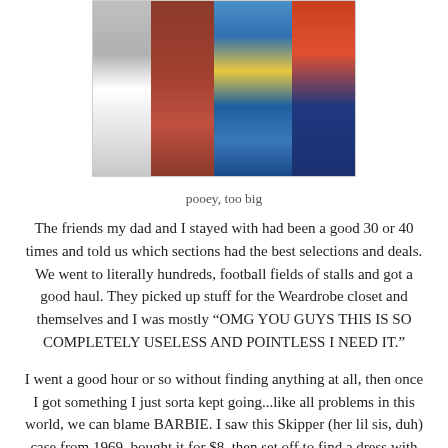[Figure (photo): Photo of colorful clothing items hanging on a rack, showing various patterned garments including red, blue paisley, and dark patterned fabrics.]
pooey, too big
The friends my dad and I stayed with had been a good 30 or 40 times and told us which sections had the best selections and deals. We went to literally hundreds, football fields of stalls and got a good haul. They picked up stuff for the Weardrobe closet and themselves and I was mostly “OMG YOU GUYS THIS IS SO COMPLETELY USELESS AND POINTLESS I NEED IT.”
I went a good hour or so without finding anything at all, then once I got something I just sorta kept going...like all problems in this world, we can blame BARBIE. I saw this Skipper (her lil sis, duh) case from 1969, bought it for $8, then set off to find a dress with all the same colors from the case in it. Foun
d it, hyperventilated for a couple seconds or so about how